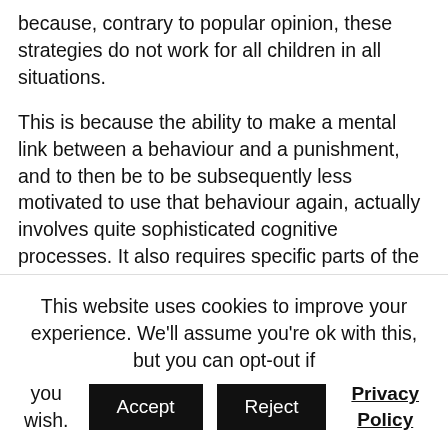because, contrary to popular opinion, these strategies do not work for all children in all situations.
This is because the ability to make a mental link between a behaviour and a punishment, and to then be to be subsequently less motivated to use that behaviour again, actually involves quite sophisticated cognitive processes. It also requires specific parts of the brain to be functioning well. Difficulties with this may apply to children with learning disabilities or neurological conditions. It may also apply to children who are anxious, fearful or traumatised. This is because anxious or
This website uses cookies to improve your experience. We'll assume you're ok with this, but you can opt-out if you wish. Accept Reject Privacy Policy